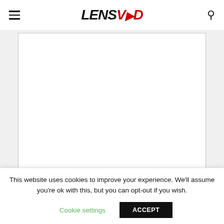LENSVID
[Figure (screenshot): Comment text area input box, partially visible, with resize handle in bottom right corner]
Name *
This website uses cookies to improve your experience. We'll assume you're ok with this, but you can opt-out if you wish.
Cookie settings
ACCEPT